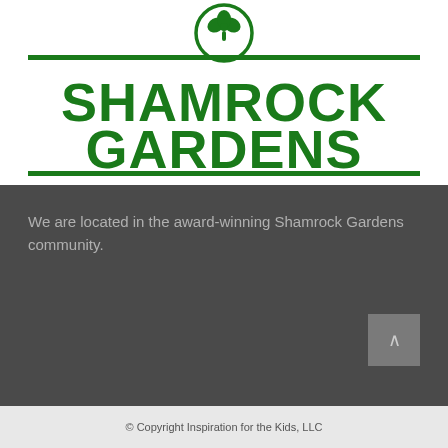[Figure (logo): Shamrock Gardens logo with green shamrock/clover emblem in a circle, green horizontal lines above and below, and bold dark green text reading SHAMROCK GARDENS]
We are located in the award-winning Shamrock Gardens community.
© Copyright Inspiration for the Kids, LLC